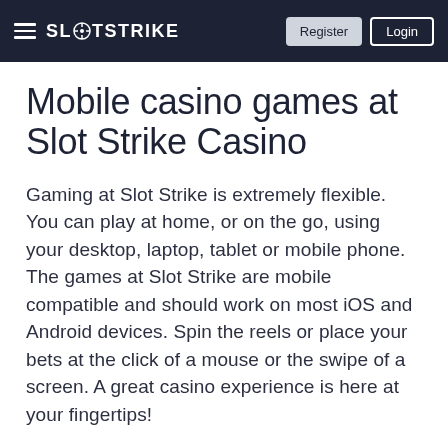SLOTSTRIKE | Register | Login
Mobile casino games at Slot Strike Casino
Gaming at Slot Strike is extremely flexible. You can play at home, or on the go, using your desktop, laptop, tablet or mobile phone. The games at Slot Strike are mobile compatible and should work on most iOS and Android devices. Spin the reels or place your bets at the click of a mouse or the swipe of a screen. A great casino experience is here at your fingertips!